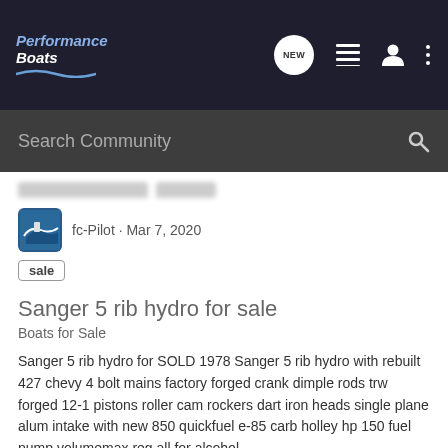[Figure (logo): Performance Boats logo with wave underline on dark navbar background]
Search Community
fc-Pilot · Mar 7, 2020
sale
Sanger 5 rib hydro for sale
Boats for Sale
Sanger 5 rib hydro for SOLD 1978 Sanger 5 rib hydro with rebuilt 427 chevy 4 bolt mains factory forged crank dimple rods trw forged 12-1 pistons roller cam rockers dart iron heads single plane alum intake with new 850 quickfuel e-85 carb holley hp 150 fuel pump volumemax reg all for alcohol...
0   3K
AMAC · Mar 6, 2020